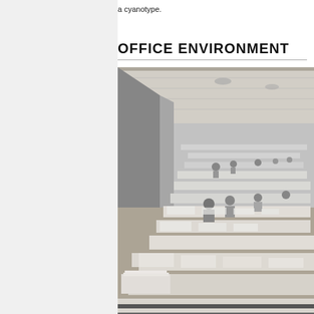a cyanotype.
OFFICE ENVIRONMENT
[Figure (photo): Black and white photograph of a large open office environment with many workers seated at rows of desks, viewed from an elevated angle, with a long perspective showing the room receding into the distance. Workers appear to be doing clerical/administrative work. The ceiling is low and flat, and there are many papers and documents on the desks.]